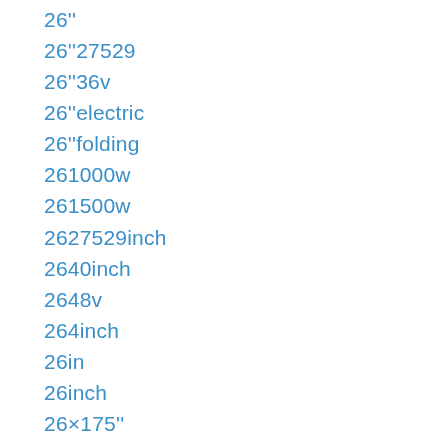26''
26''27529
26''36v
26''electric
26''folding
261000w
261500w
2627529inch
2640inch
2648v
264inch
26in
26inch
26×175''
275'